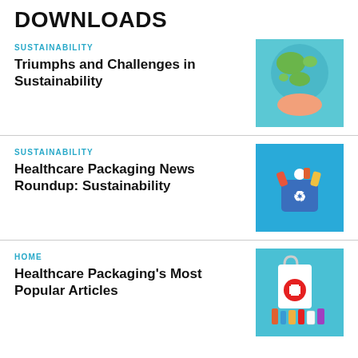DOWNLOADS
SUSTAINABILITY
Triumphs and Challenges in Sustainability
[Figure (illustration): Illustrated globe with green continents on blue water, hand beneath]
SUSTAINABILITY
Healthcare Packaging News Roundup: Sustainability
[Figure (illustration): Blue recycling bin with medical packaging items on blue background]
HOME
Healthcare Packaging's Most Popular Articles
[Figure (illustration): Medical bag with red cross logo and healthcare products on blue background]